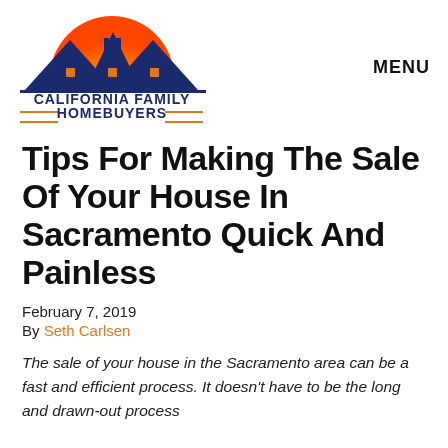[Figure (logo): California Family Homebuyers logo with orange sun, blue mountain/house silhouette, and orange decorative lines. Text reads CALIFORNIA FAMILY HOMEBUYERS.]
MENU
Tips For Making The Sale Of Your House In Sacramento Quick And Painless
February 7, 2019
By Seth Carlsen
The sale of your house in the Sacramento area can be a fast and efficient process. It doesn't have to be the long and drawn-out process...